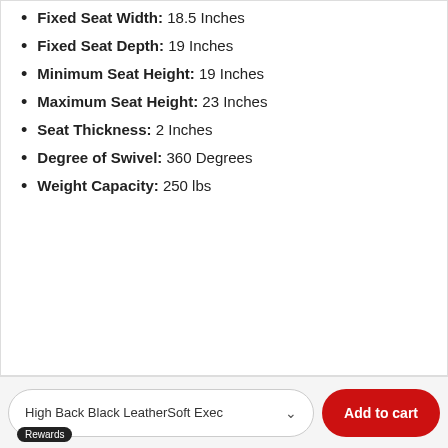Fixed Seat Width: 18.5 Inches
Fixed Seat Depth: 19 Inches
Minimum Seat Height: 19 Inches
Maximum Seat Height: 23 Inches
Seat Thickness: 2 Inches
Degree of Swivel: 360 Degrees
Weight Capacity: 250 lbs
High Back Black LeatherSoft Exec  |  Add to cart  |  Rewards